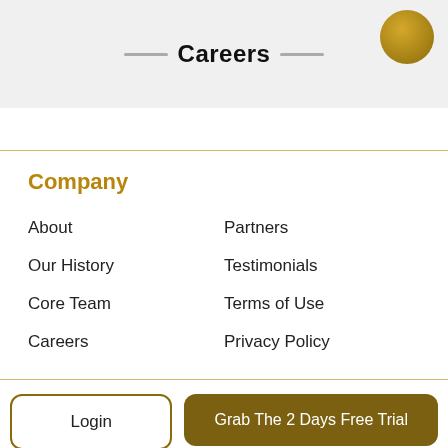Careers
Company
About
Partners
Our History
Testimonials
Core Team
Terms of Use
Careers
Privacy Policy
Login
Grab The 2 Days Free Trial